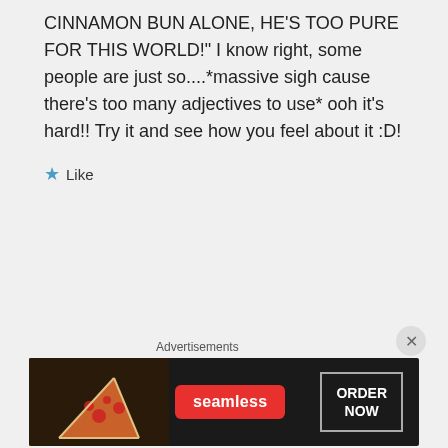CINNAMON BUN ALONE, HE'S TOO PURE FOR THIS WORLD!" I know right, some people are just so....*massive sigh cause there's too many adjectives to use* ooh it's hard!! Try it and see how you feel about it :D!
★ Like
HijackedCat on August 17, 2016 at 8:56 am
Advertisements
[Figure (other): Seamless food delivery advertisement banner with pizza image, red Seamless logo, and ORDER NOW button]